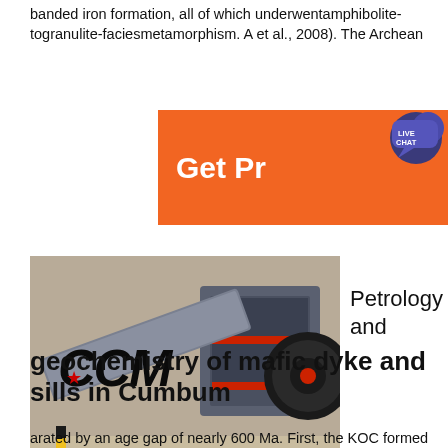banded iron formation, all of which underwentamphibolite-togranulite-faciesmetamorphism. A et al., 2008). The Archean
[Figure (infographic): Orange advertisement banner with text 'Get Pr' and a blue speech bubble with 'LIVE CHAT']
[Figure (photo): Photo of industrial machinery including a vibrating screen/feeder and jaw crusher equipment with CCM logo overlaid]
Petrology and
geochemistry of mafic dyke and sills in Cumbum
arated by an age gap of nearly 600 Ma. First, the KOC formed